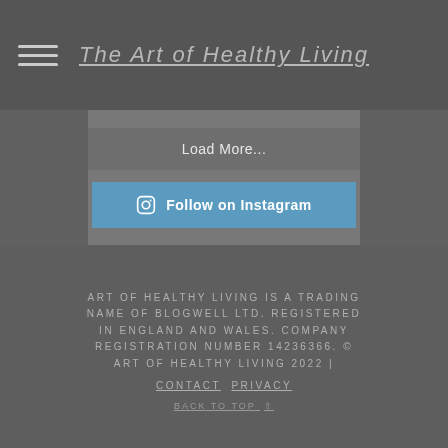The Art of Healthy Living
Load More...
Follow on Instagram
ART OF HEALTHY LIVING IS A TRADING NAME OF BLOGWELL LTD. REGISTERED IN ENGLAND AND WALES. COMPANY REGISTRATION NUMBER 14236366. © ART OF HEALTHY LIVING 2022 | CONTACT  PRIVACY
BACK TO TOP